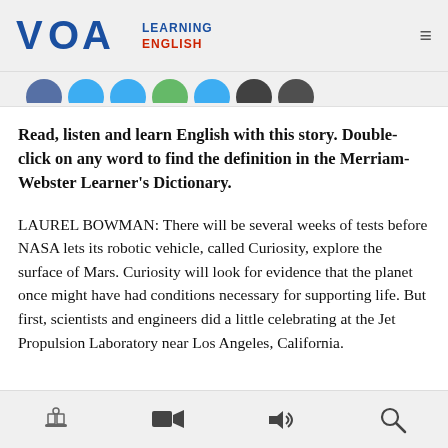VOA Learning English
Read, listen and learn English with this story. Double-click on any word to find the definition in the Merriam-Webster Learner's Dictionary.
LAUREL BOWMAN: There will be several weeks of tests before NASA lets its robotic vehicle, called Curiosity, explore the surface of Mars. Curiosity will look for evidence that the planet once might have had conditions necessary for supporting life. But first, scientists and engineers did a little celebrating at the Jet Propulsion Laboratory near Los Angeles, California.